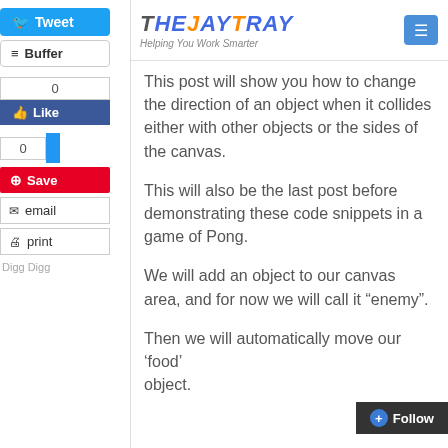[Figure (logo): TheJayTray website logo with orange arc and tagline 'Helping You Work Smarter']
[Figure (screenshot): Social sharing sidebar with Tweet, Buffer, Like, Save, email, print buttons and Digg Digg label]
This post will show you how to change the direction of an object when it collides either with other objects or the sides of the canvas.
This will also be the last post before demonstrating these code snippets in a game of Pong.
We will add an object to our canvas area, and for now we will call it “enemy”.
Then we will automatically move our ‘food’ object.